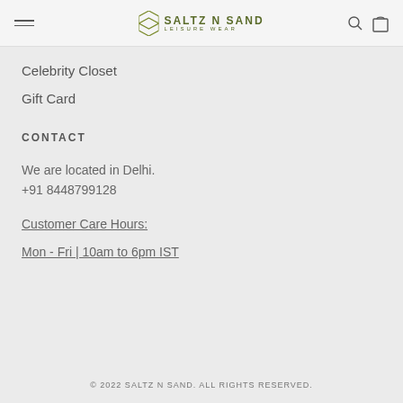SALTZ N SAND LEISURE WEAR
Celebrity Closet
Gift Card
CONTACT
We are located in Delhi.
+91 8448799128
Customer Care Hours:
Mon - Fri | 10am to 6pm IST
© 2022 SALTZ N SAND. ALL RIGHTS RESERVED.